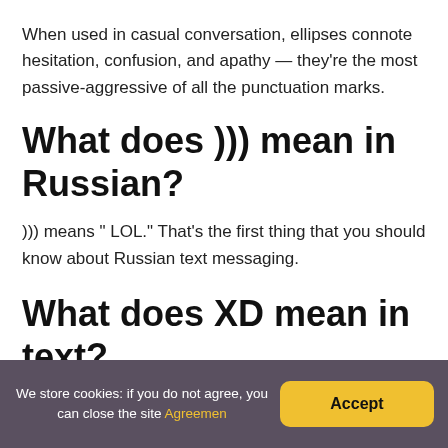When used in casual conversation, ellipses connote hesitation, confusion, and apathy — they're the most passive-aggressive of all the punctuation marks.
What does ))) mean in Russian?
))) means " LOL." That's the first thing that you should know about Russian text messaging.
What does XD mean in text?
We store cookies: if you do not agree, you can close the site Agreemen   Accept